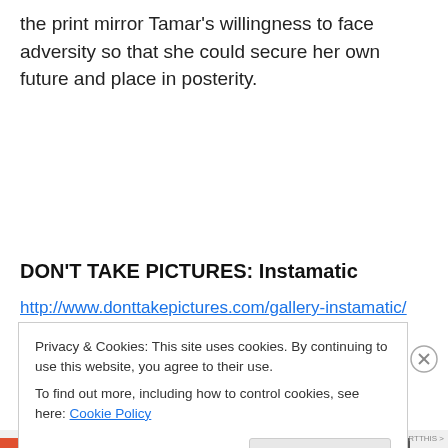the print mirror Tamar's willingness to face adversity so that she could secure her own future and place in posterity.
DON'T TAKE PICTURES: Instamatic
http://www.donttakepictures.com/gallery-instamatic/
This gallery is on view through May 26
Privacy & Cookies: This site uses cookies. By continuing to use this website, you agree to their use.
To find out more, including how to control cookies, see here: Cookie Policy
Close and accept